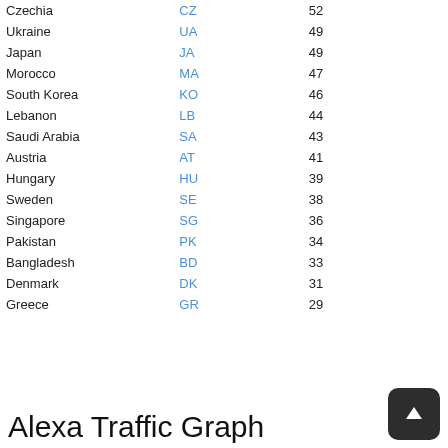| Country | Code | Count |
| --- | --- | --- |
| Czechia | CZ | 52 |
| Ukraine | UA | 49 |
| Japan | JA | 49 |
| Morocco | MA | 47 |
| South Korea | KO | 46 |
| Lebanon | LB | 44 |
| Saudi Arabia | SA | 43 |
| Austria | AT | 41 |
| Hungary | HU | 39 |
| Sweden | SE | 38 |
| Singapore | SG | 36 |
| Pakistan | PK | 34 |
| Bangladesh | BD | 33 |
| Denmark | DK | 31 |
| Greece | GR | 29 |
Alexa Traffic Graph